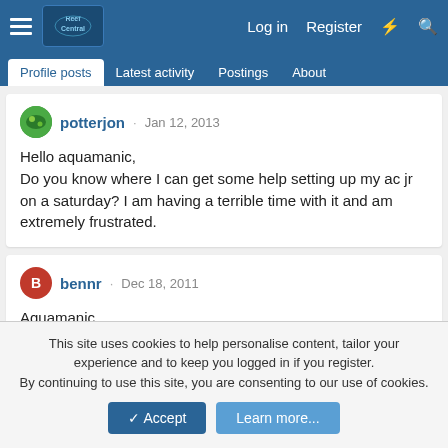Reef Central - Profile posts | Latest activity | Postings | About
potterjon · Jan 12, 2013
Hello aquamanic,
Do you know where I can get some help setting up my ac jr on a saturday? I am having a terrible time with it and am extremely frustrated.
bennr · Dec 18, 2011
Aquamanic,

Where can I get ur guide.....??
This site uses cookies to help personalise content, tailor your experience and to keep you logged in if you register.
By continuing to use this site, you are consenting to our use of cookies.